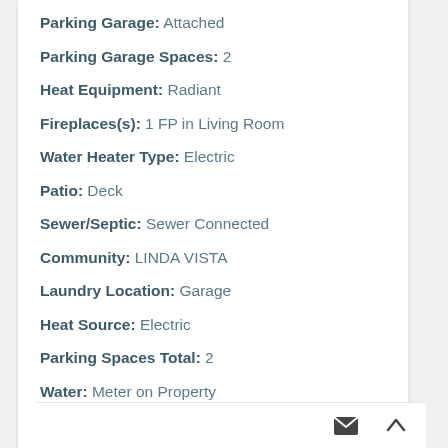Parking Garage: Attached
Parking Garage Spaces: 2
Heat Equipment: Radiant
Fireplaces(s): 1 FP in Living Room
Water Heater Type: Electric
Patio: Deck
Sewer/Septic: Sewer Connected
Community: LINDA VISTA
Laundry Location: Garage
Heat Source: Electric
Parking Spaces Total: 2
Water: Meter on Property
Complex/Park: North Rim
Fees & Taxes
Monthly Total Fees: 354